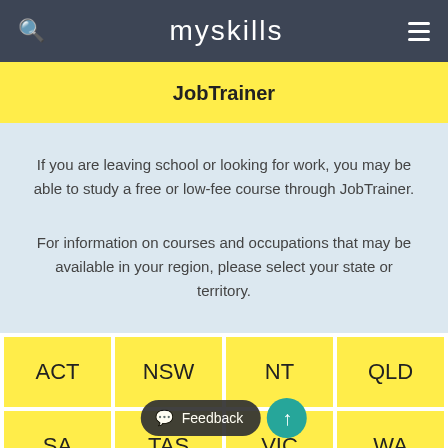myskills
JobTrainer
If you are leaving school or looking for work, you may be able to study a free or low-fee course through JobTrainer.
For information on courses and occupations that may be available in your region, please select your state or territory.
[Figure (other): Grid of Australian state/territory buttons: ACT, NSW, NT, QLD, SA, TAS, VIC, WA]